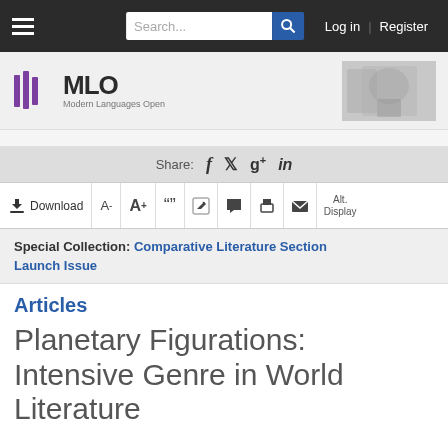MLO Modern Languages Open — navigation bar with search, log in, register
[Figure (logo): MLO Modern Languages Open logo with decorative historical image banner]
Share: (Facebook) (Twitter) (Google+) (LinkedIn)
Download | A- | A+ | quote | edit | comment | print | email | Alt. Display
Special Collection: Comparative Literature Section Launch Issue
Articles
Planetary Figurations: Intensive Genre in World Literature